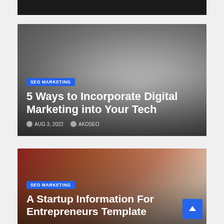[Figure (photo): Partial top strip of a dark image, appears to be a close-up of some dark objects]
[Figure (photo): Card with grayscale radial background resembling a spotlight or globe, overlaid with SEO Marketing category badge, article title '5 Ways to Incorporate Digital Marketing into Your Tech', date AUG 3, 2022, and author AKDSEO]
[Figure (photo): Card with photo of person in red blazer, overlaid with SEO Marketing badge and article title 'A Startup Information For Entrepreneurs Template']